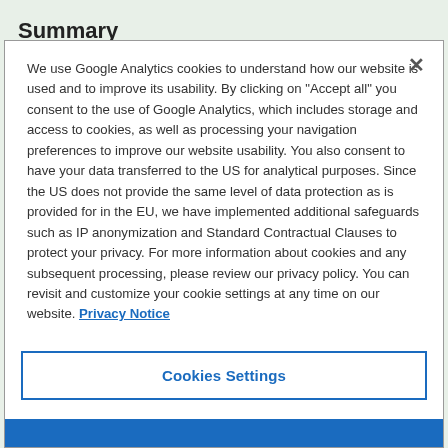Summary
We use Google Analytics cookies to understand how our website is used and to improve its usability. By clicking on "Accept all" you consent to the use of Google Analytics, which includes storage and access to cookies, as well as processing your navigation preferences to improve our website usability. You also consent to have your data transferred to the US for analytical purposes. Since the US does not provide the same level of data protection as is provided for in the EU, we have implemented additional safeguards such as IP anonymization and Standard Contractual Clauses to protect your privacy. For more information about cookies and any subsequent processing, please review our privacy policy. You can revisit and customize your cookie settings at any time on our website. Privacy Notice
Cookies Settings